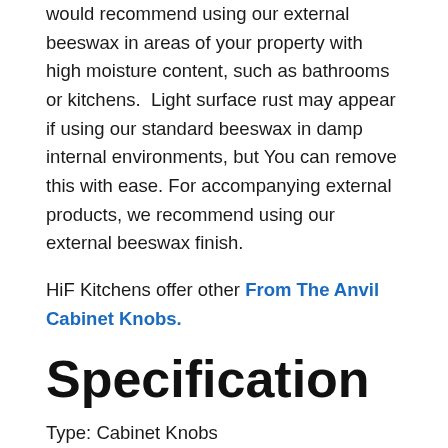would recommend using our external beeswax in areas of your property with high moisture content, such as bathrooms or kitchens.  Light surface rust may appear if using our standard beeswax in damp internal environments, but You can remove this with ease. For accompanying external products, we recommend using our external beeswax finish.
HiF Kitchens offer other From The Anvil Cabinet Knobs.
Specification
Type: Cabinet Knobs